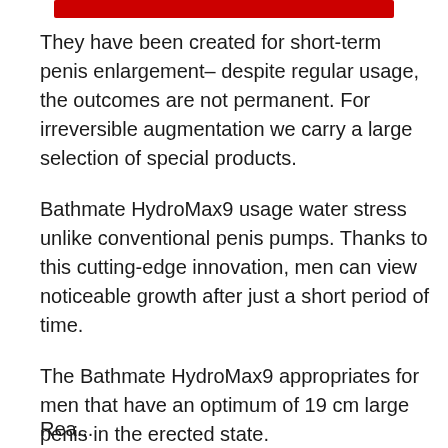[Figure (other): Red horizontal bar/button at the top of the page]
They have been created for short-term penis enlargement– despite regular usage, the outcomes are not permanent. For irreversible augmentation we carry a large selection of special products.
Bathmate HydroMax9 usage water stress unlike conventional penis pumps. Thanks to this cutting-edge innovation, men can view noticeable growth after just a short period of time.
The Bathmate HydroMax9 appropriates for men that have an optimum of 19 cm large penis in the erected state.
Rea...